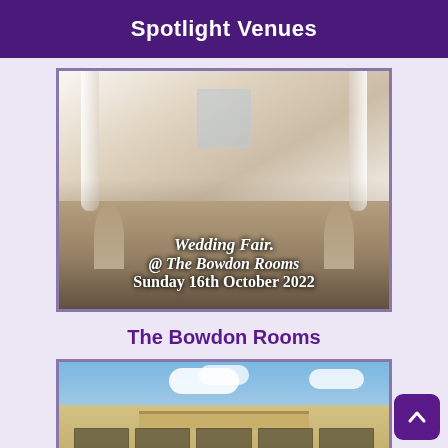Spotlight Venues
[Figure (photo): Wedding fair promotional image showing an elegantly decorated wedding reception hall with white draping, chandeliers, and floral arrangements. Overlay text reads: Wedding Fair. @ The Bowdon Rooms Sunday 16th October 2022]
The Bowdon Rooms
[Figure (photo): Exterior photo of a grand stone building (venue) under a blue sky with white clouds]